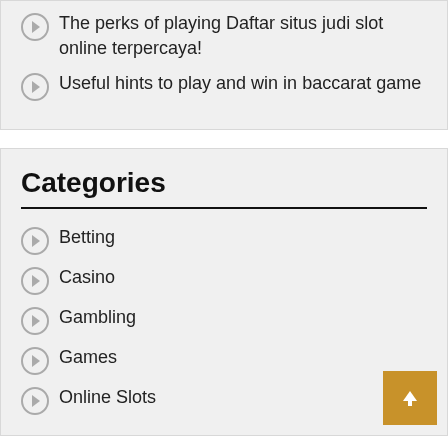The perks of playing Daftar situs judi slot online terpercaya!
Useful hints to play and win in baccarat game
Categories
Betting
Casino
Gambling
Games
Online Slots